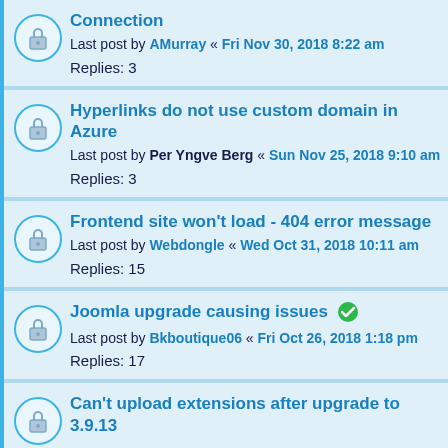Connection
Last post by AMurray « Fri Nov 30, 2018 8:22 am
Replies: 3
Hyperlinks do not use custom domain in Azure
Last post by Per Yngve Berg « Sun Nov 25, 2018 9:10 am
Replies: 3
Frontend site won't load - 404 error message
Last post by Webdongle « Wed Oct 31, 2018 10:11 am
Replies: 15
Joomla upgrade causing issues
Last post by Bkboutique06 « Fri Oct 26, 2018 1:18 pm
Replies: 17
Can't upload extensions after upgrade to 3.9.13